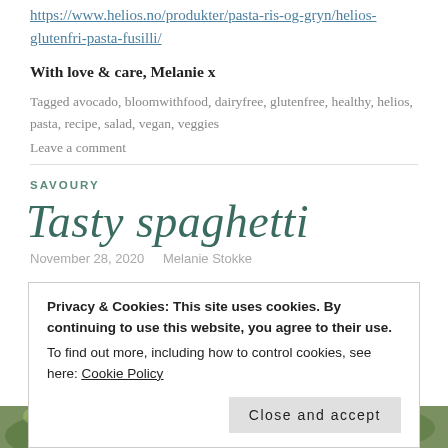https://www.helios.no/produkter/pasta-ris-og-gryn/helios-glutenfri-pasta-fusilli/
With love & care, Melanie x
Tagged avocado, bloomwithfood, dairyfree, glutenfree, healthy, helios, pasta, recipe, salad, vegan, veggies
Leave a comment
SAVOURY
Tasty spaghetti
November 28, 2020   Melanie Stokke
Privacy & Cookies: This site uses cookies. By continuing to use this website, you agree to their use.
To find out more, including how to control cookies, see here: Cookie Policy
[Figure (photo): Food photograph strip at bottom of page showing green vegetables or pasta dish]